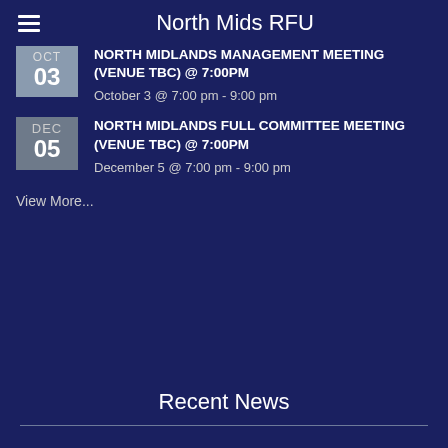North Mids RFU
NORTH MIDLANDS MANAGEMENT MEETING (VENUE TBC) @ 7:00PM — October 3 @ 7:00 pm - 9:00 pm
NORTH MIDLANDS FULL COMMITTEE MEETING (VENUE TBC) @ 7:00PM — December 5 @ 7:00 pm - 9:00 pm
View More...
Recent News